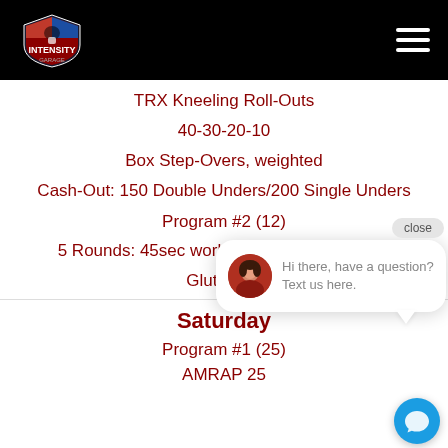[Figure (logo): Intensity Garage logo on black header bar with hamburger menu icon]
TRX Kneeling Roll-Outs
40-30-20-10
Box Step-Overs, weighted
Cash-Out: 150 Double Unders/200 Single Unders
Program #2 (12)
5 Rounds: 45sec work/30 sec rest. Alternate
Glute Brid[ge...]
Saturday
Program #1 (25)
AMRAP 25
[Figure (screenshot): Chat popup with female avatar and text: Hi there, have a question? Text us here. Close button visible. Blue chat icon button in bottom right corner.]